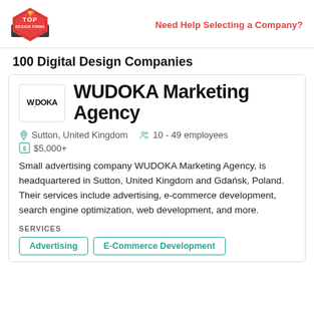Top Design Firms | Need Help Selecting a Company?
100 Digital Design Companies
WUDOKA Marketing Agency
Sutton, United Kingdom   10 - 49 employees
$5,000+
Small advertising company WUDOKA Marketing Agency, is headquartered in Sutton, United Kingdom and Gdańsk, Poland. Their services include advertising, e-commerce development, search engine optimization, web development, and more.
SERVICES
Advertising
E-Commerce Development